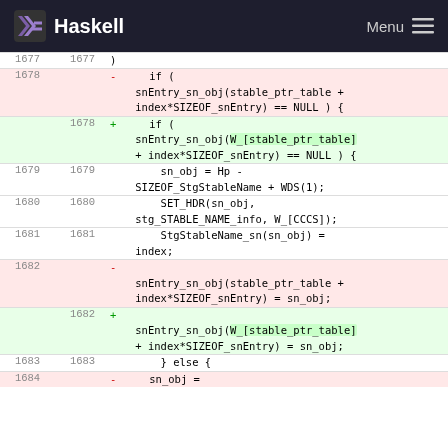Haskell  Menu
[Figure (screenshot): Haskell diff view showing code changes around lines 1677-1684 with removed lines in pink and added lines in green]
| old | new | code |
| --- | --- | --- |
| 1677 | 1677 | ) |
| 1678 |  | -    if (
snEntry_sn_obj(stable_ptr_table +
index*SIZEOF_snEntry) == NULL ) { |
|  | 1678 | +    if (
snEntry_sn_obj(W_[stable_ptr_table]
+ index*SIZEOF_snEntry) == NULL ) { |
| 1679 | 1679 |         sn_obj = Hp -
SIZEOF_StgStableName + WDS(1); |
| 1680 | 1680 |         SET_HDR(sn_obj,
stg_STABLE_NAME_info, W_[CCCS]); |
| 1681 | 1681 |         StgStableName_sn(sn_obj) =
index; |
| 1682 |  | -
snEntry_sn_obj(stable_ptr_table +
index*SIZEOF_snEntry) = sn_obj; |
|  | 1682 | +
snEntry_sn_obj(W_[stable_ptr_table]
+ index*SIZEOF_snEntry) = sn_obj; |
| 1683 | 1683 |     } else { |
| 1684 |  | -    sn_obj = |